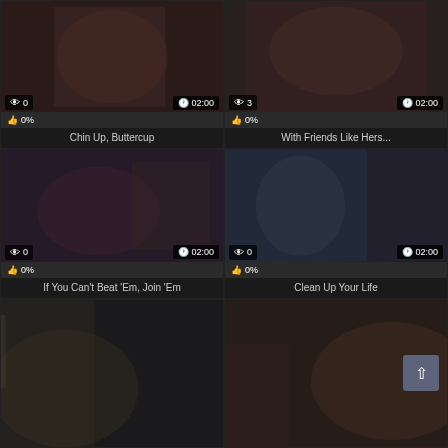[Figure (screenshot): Video thumbnail grid showing 6 video cards in 2 columns. Top row: 'Chin Up, Buttercup' (0 views, 02:00, 0%), 'With Friends Like Hers...' (3 views, 02:00, 0%). Middle row: 'If You Can't Beat Em, Join Em' (0 views, 02:00, 0%), 'Clean Up Your Life' (0 views, 02:00, 0%). Bottom row: two partial thumbnails with a scroll-to-top button visible on the right card.]